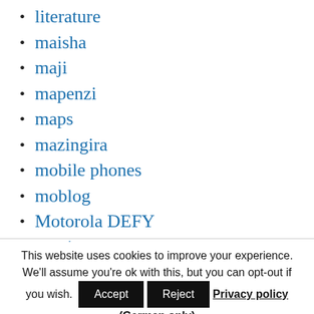literature
maisha
maji
mapenzi
maps
mazingira
mobile phones
moblog
Motorola DEFY
movies
ngoma
This website uses cookies to improve your experience. We'll assume you're ok with this, but you can opt-out if you wish. Accept Reject Privacy policy (German only)